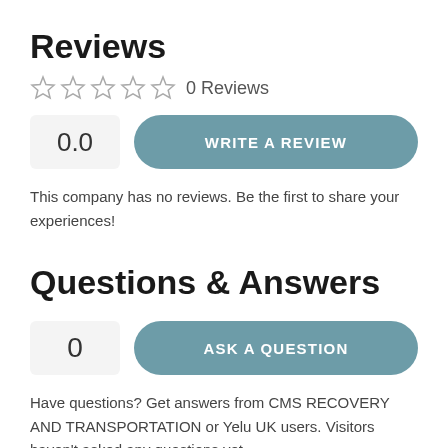Reviews
☆☆☆☆☆  0 Reviews
0.0    WRITE A REVIEW
This company has no reviews. Be the first to share your experiences!
Questions & Answers
0    ASK A QUESTION
Have questions? Get answers from CMS RECOVERY AND TRANSPORTATION or Yelu UK users. Visitors haven't asked any questions yet.